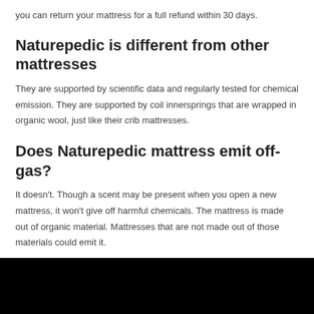you can return your mattress for a full refund within 30 days.
Naturepedic is different from other mattresses
They are supported by scientific data and regularly tested for chemical emission. They are supported by coil innersprings that are wrapped in organic wool, just like their crib mattresses.
Does Naturepedic mattress emit off-gas?
It doesn't. Though a scent may be present when you open a new mattress, it won't give off harmful chemicals. The mattress is made out of organic material. Mattresses that are not made out of those materials could emit it.
[Figure (photo): Dark/black image, likely a photo of a mattress or related product]